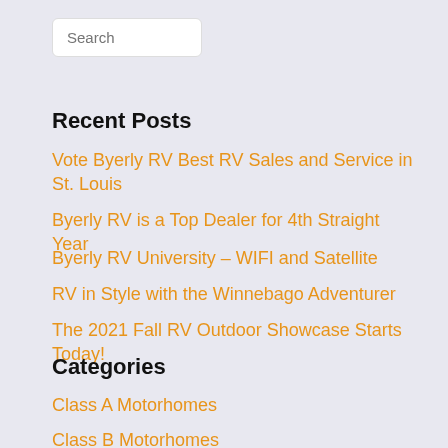Search
Recent Posts
Vote Byerly RV Best RV Sales and Service in St. Louis
Byerly RV is a Top Dealer for 4th Straight Year
Byerly RV University – WIFI and Satellite
RV in Style with the Winnebago Adventurer
The 2021 Fall RV Outdoor Showcase Starts Today!
Categories
Class A Motorhomes
Class B Motorhomes